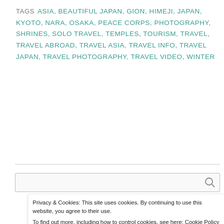TAGS  ASIA, BEAUTIFUL JAPAN, GION, HIMEJI, JAPAN, KYOTO, NARA, OSAKA, PEACE CORPS, PHOTOGRAPHY, SHRINES, SOLO TRAVEL, TEMPLES, TOURISM, TRAVEL, TRAVEL ABROAD, TRAVEL ASIA, TRAVEL INFO, TRAVEL JAPAN, TRAVEL PHOTOGRAPHY, TRAVEL VIDEO, WINTER
Privacy & Cookies: This site uses cookies. By continuing to use this website, you agree to their use.
To find out more, including how to control cookies, see here: Cookie Policy
Close and accept